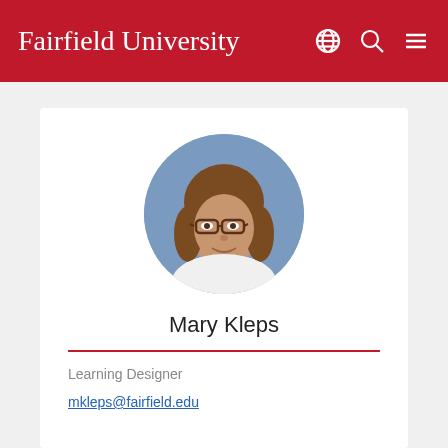Fairfield University
[Figure (photo): Circular profile photo of Mary Kleps, a woman with brown shoulder-length hair, wearing glasses and a white top, against a blue-gray background.]
Mary Kleps
Learning Designer
mkleps@fairfield.edu